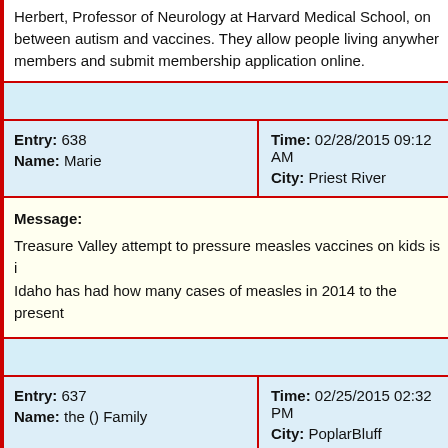Herbert, Professor of Neurology at Harvard Medical School, on between autism and vaccines. They allow people living anywhere members and submit membership application online.
| Entry / Name | Time / City |
| --- | --- |
| Entry: 638
Name: Marie | Time: 02/28/2015 09:12 AM
City: Priest River |
Message:
Treasure Valley attempt to pressure measles vaccines on kids is i Idaho has had how many cases of measles in 2014 to the present
| Entry / Name | Time / City |
| --- | --- |
| Entry: 637
Name: the () Family | Time: 02/25/2015 02:32 PM
City: PoplarBluff |
M...